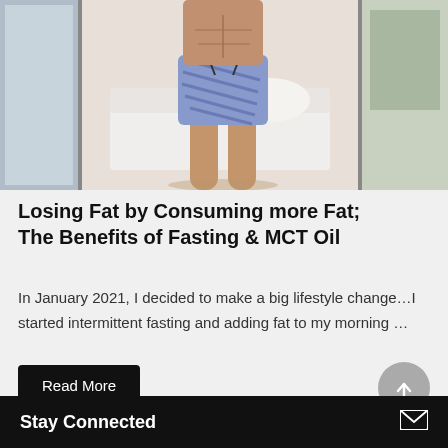[Figure (photo): Person standing indoors wearing blue and white tie-dye shorts, showing legs, with a bed and large windows visible in the background]
Losing Fat by Consuming more Fat; The Benefits of Fasting & MCT Oil
In January 2021, I decided to make a big lifestyle change…I started intermittent fasting and adding fat to my morning …
Read More
Stay Connected